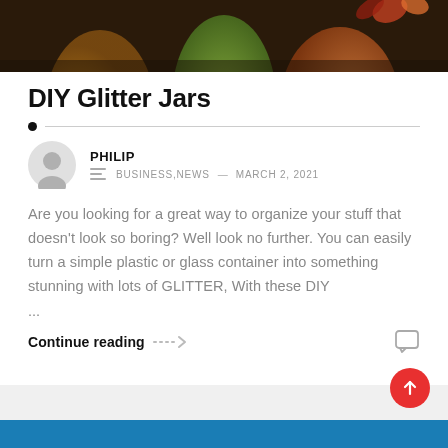[Figure (photo): Top portion of decorative jars/containers with autumn leaves, in warm orange, green and dark tones]
DIY Glitter Jars
PHILIP  BUSINESS,NEWS — MARCH 2, 2021
Are you looking for a great way to organize your stuff that doesn't look so boring? Well look no further. You can easily turn a simple plastic or glass container into something stunning with lots of GLITTER, With these DIY ...
Continue reading